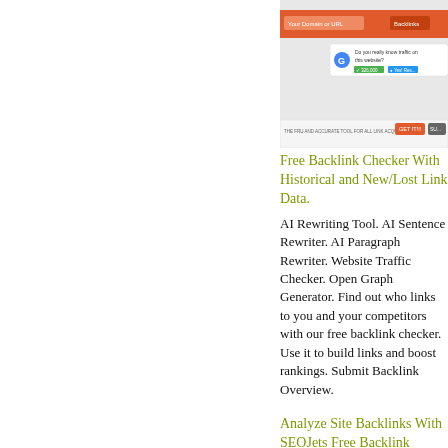[Figure (screenshot): Screenshot of a backlink checker web tool interface with orange/red header bar and Google-style UI elements]
Free Backlink Checker With Historical and New/Lost Link Data.
AI Rewriting Tool. AI Sentence Rewriter. AI Paragraph Rewriter. Website Traffic Checker. Open Graph Generator. Find out who links to you and your competitors with our free backlink checker. Use it to build links and boost rankings. Submit Backlink Overview.
Analyze Site Backlinks With SEOJets Free Backlink Checker.
Conduct a backlinks SEO check with our backlink checker to ensure you have enough good backlinks leading to your website. Get A FREE 14 Day Trial O